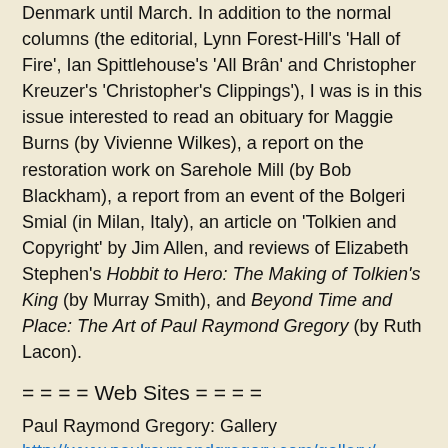Denmark until March. In addition to the normal columns (the editorial, Lynn Forest-Hill's 'Hall of Fire', Ian Spittlehouse's 'All Brân' and Christopher Kreuzer's 'Christopher's Clippings'), I was is in this issue interested to read an obituary for Maggie Burns (by Vivienne Wilkes), a report on the restoration work on Sarehole Mill (by Bob Blackham), a report from an event of the Bolgeri Smial (in Milan, Italy), an article on 'Tolkien and Copyright' by Jim Allen, and reviews of Elizabeth Stephen's Hobbit to Hero: The Making of Tolkien's King (by Murray Smith), and Beyond Time and Place: The Art of Paul Raymond Gregory (by Ruth Lacon).
= = = = Web Sites = = = =
Paul Raymond Gregory: Gallery
http://www.paulraymondgregory.com/gallery/
A gallery of Paul Raymond Gregory's Tolkien-inspired pictures.
José Manuel Ferrández Bru
http://www.josemanuelferrandez.com
The web-site of the pre-eminent scholar on Father Francis morgan and through him Tolkien's connections to Spain. I